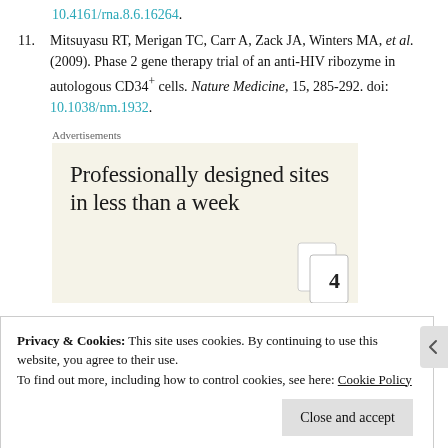10.4161/rna.8.6.16264.
11. Mitsuyasu RT, Merigan TC, Carr A, Zack JA, Winters MA, et al. (2009). Phase 2 gene therapy trial of an anti-HIV ribozyme in autologous CD34+ cells. Nature Medicine, 15, 285-292. doi: 10.1038/nm.1932.
Advertisements
[Figure (other): Advertisement banner with text: Professionally designed sites in less than a week, with a decorative card image in the bottom right corner.]
Privacy & Cookies: This site uses cookies. By continuing to use this website, you agree to their use. To find out more, including how to control cookies, see here: Cookie Policy
Close and accept